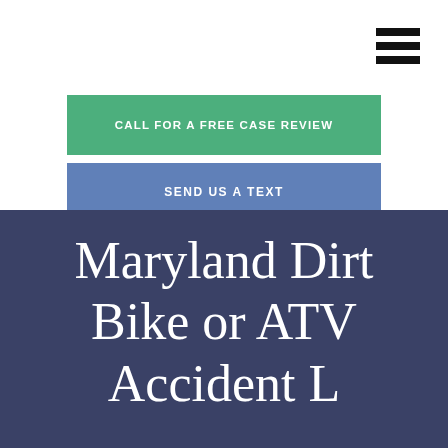[Figure (other): Hamburger menu icon with three horizontal black bars in top right corner]
CALL FOR A FREE CASE REVIEW
SEND US A TEXT
Maryland Dirt Bike or ATV Accident L...